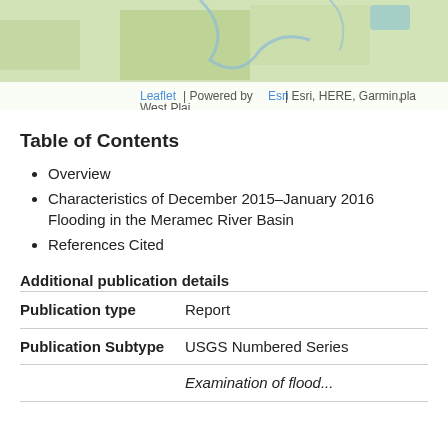[Figure (map): Partial map image showing terrain/land cover with Leaflet | Powered by Esri | Esri, HERE, Garmin attribution overlay at the bottom]
Table of Contents
Overview
Characteristics of December 2015–January 2016 Flooding in the Meramec River Basin
References Cited
Additional publication details
|  |  |
| --- | --- |
| Publication type | Report |
| Publication Subtype | USGS Numbered Series |
|  | Examination of flood... |